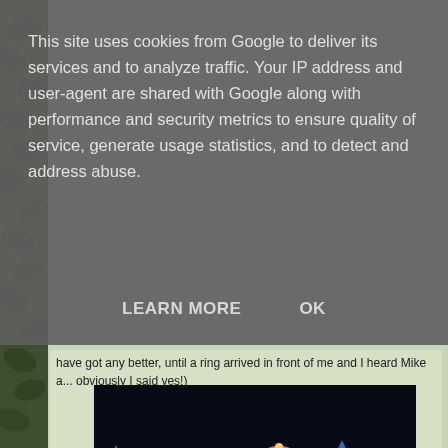This site uses cookies from Google to deliver its services and to analyze traffic. Your IP address and user-agent are shared with Google along with performance and security metrics to ensure quality of service, generate usage statistics, and to detect and address abuse.
LEARN MORE    OK
have got any better, until a ring arrived in front of me and I heard Mike a... obviously I said yes!)
[Figure (photo): Night time photo of an illuminated festival boat/float on dark water. The float features colorful lit structures including what appears to be a Ferris wheel, castle-like towers, golden bottle-shaped structures, and blue light decorations along the base. The reflection of the lights can be seen in the water below.]